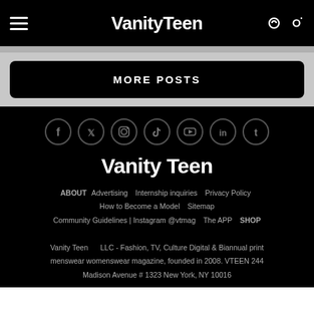VanityTeen
MORE POSTS
[Figure (logo): Social media icons row: Facebook, Twitter, Instagram, TikTok, YouTube, LinkedIn, Tumblr in circular outlines]
Vanity Teen
ABOUT  Advertising  Internship inquiries  Privacy Policy  How to Become a Model  Sitemap  Community Guidelines | Instagram @vtmag  The APP  SHOP  Vanity Teen LLC - Fashion, TV, Culture Digital & Biannual print menswear womenswear magazine, founded in 2008. VTEEN 244 Madison Avenue # 1323 New York, NY 10016